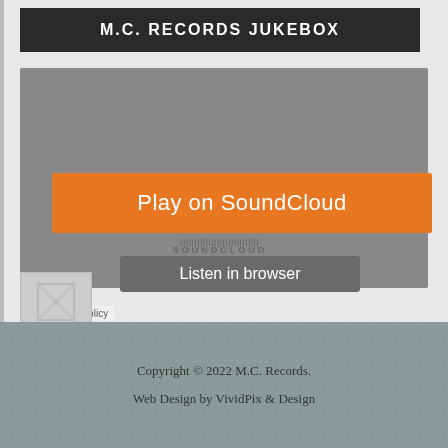M.C. RECORDS JUKEBOX
[Figure (screenshot): SoundCloud embedded player widget showing a large orange 'Play on SoundCloud' button, waveform area with SOUNDCLOUD text, a 'Listen in browser' gray button, and a Privacy policy link at the bottom left. The widget background is gray.]
[Figure (other): Placeholder image thumbnail, gray with broken image icon]
Copyright © 2022 M.C. Records.
Web Design by VividPix & Design